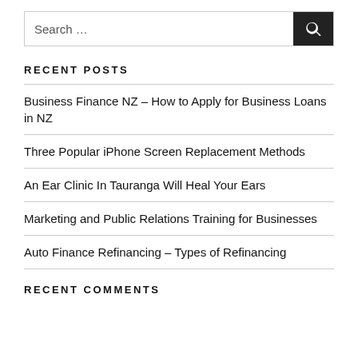[Figure (other): Search box with text input field labeled 'Search ...' and a dark search button with magnifying glass icon]
RECENT POSTS
Business Finance NZ – How to Apply for Business Loans in NZ
Three Popular iPhone Screen Replacement Methods
An Ear Clinic In Tauranga Will Heal Your Ears
Marketing and Public Relations Training for Businesses
Auto Finance Refinancing – Types of Refinancing
RECENT COMMENTS